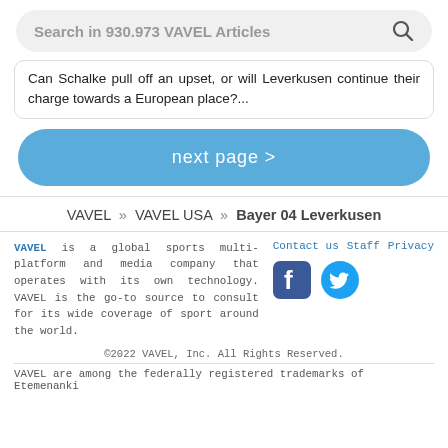Search in 930.973 VAVEL Articles
Can Schalke pull off an upset, or will Leverkusen continue their charge towards a European place?...
next page >
VAVEL » VAVEL USA » Bayer 04 Leverkusen
VAVEL is a global sports multi-platform and media company that operates with its own technology. VAVEL is the go-to source to consult for its wide coverage of sport around the world.
Contact us   Staff   Privacy
©2022 VAVEL, Inc. All Rights Reserved.
VAVEL are among the federally registered trademarks of Etemenanki